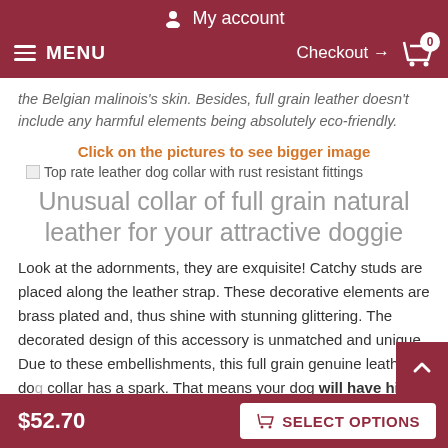My account
MENU   Checkout → 0
the Belgian malinois's skin. Besides, full grain leather doesn't include any harmful elements being absolutely eco-friendly.
Click on the pictures to see bigger image
[Figure (photo): Top rate leather dog collar with rust resistant fittings - broken image placeholder]
Unusual collar of full grain natural leather for your attractive doggie
Look at the adornments, they are exquisite! Catchy studs are placed along the leather strap. These decorative elements are brass plated and, thus shine with stunning glittering. The decorated design of this accessory is unmatched and unique. Due to these embellishments, this full grain genuine leather dog collar has a spark. That means your dog will have his individual
$52.70   SELECT OPTIONS